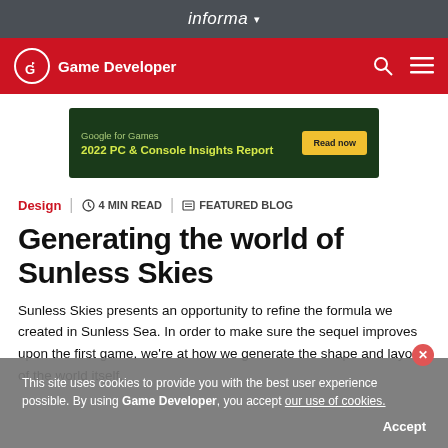informa
Game Developer
[Figure (other): Google for Games 2022 PC & Console Insights Report advertisement banner with yellow Read now button on dark green background]
Design | 4 MIN READ | FEATURED BLOG
Generating the world of Sunless Skies
Sunless Skies presents an opportunity to refine the formula we created in Sunless Sea. In order to make sure the sequel improves upon the first game, we're at how we generate the shape and layout of the world itself.
This site uses cookies to provide you with the best user experience possible. By using Game Developer, you accept our use of cookies.